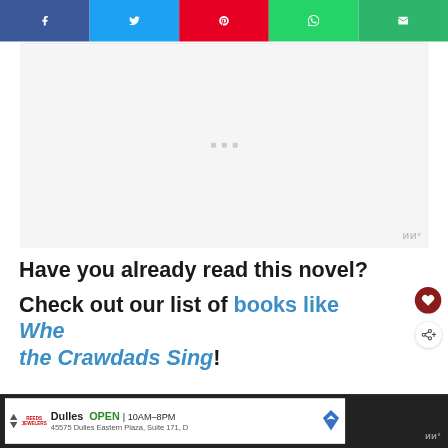[Figure (other): Social media share bar with five buttons: Facebook (dark blue, f icon), Twitter (light blue, bird icon), Pinterest (red, P icon), WhatsApp (teal, phone icon), Email (green, envelope icon)]
[Figure (other): Advertisement placeholder block with light grey background and three small grey dots in center, Wunderkind logo in bottom right]
Have you already read this novel? Check out our list of books like Where the Crawdads Sing!
[Figure (other): Floating action buttons: heart/like button (dark red) and share button (white with share icon)]
[Figure (other): Bottom advertisement bar showing a store listing: Dulles OPEN 10AM-8PM, 45575 Dulles Eastern Plaza, Suite 171, D, with navigation arrows, store logo, map icon, and Wunderkind badge]